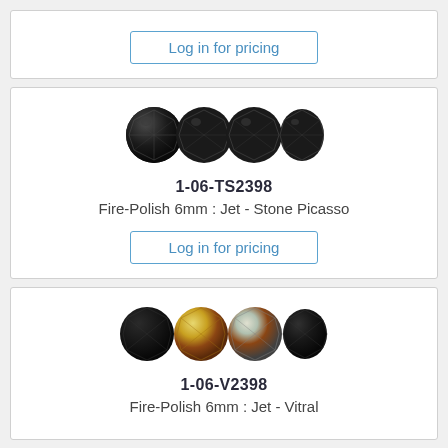[Figure (photo): Login button card at top with 'Log in for pricing' button]
Log in for pricing
[Figure (photo): Four dark faceted fire-polish glass beads, Jet - Stone Picasso color]
1-06-TS2398
Fire-Polish 6mm : Jet - Stone Picasso
Log in for pricing
[Figure (photo): Four faceted fire-polish glass beads showing Jet - Vitral color with black and iridescent metallic finish]
1-06-V2398
Fire-Polish 6mm : Jet - Vitral